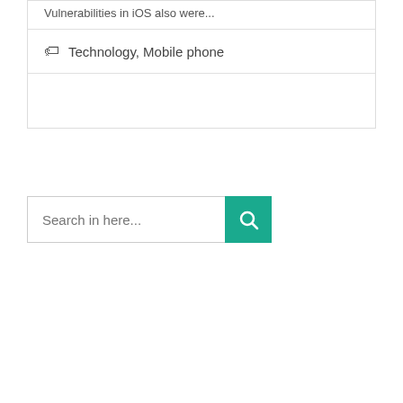Vulnerabilities in iOS also were...
Technology, Mobile phone
Search in here...